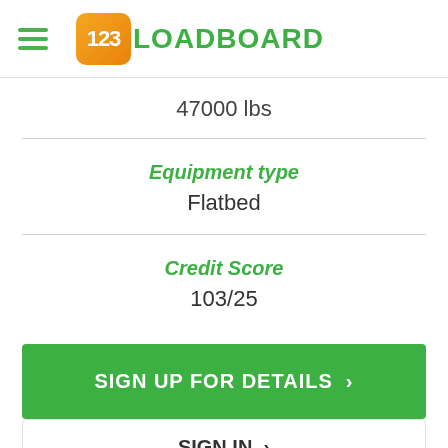123LOADBOARD
47000 lbs
Equipment type
Flatbed
Credit Score
103/25
SIGN UP FOR DETAILS >
SIGN IN >